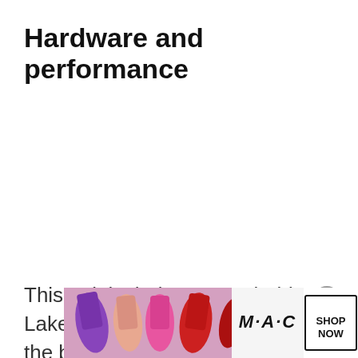Hardware and performance
This unit includes an Intel Alder Lake Core i5-1240P processor, the base-level option available for this series, base
[Figure (photo): MAC cosmetics advertisement banner showing colorful lipsticks (purple, pink, coral, red) with MAC brand name and SHOP NOW call-to-action button]